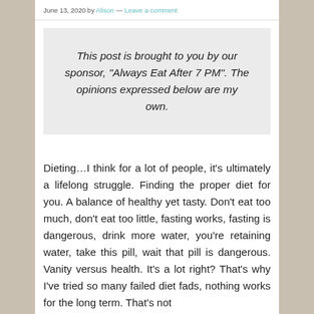June 13, 2020 by Alison — Leave a comment
This post is brought to you by our sponsor, "Always Eat After 7 PM". The opinions expressed below are my own.
Dieting…I think for a lot of people, it's ultimately a lifelong struggle. Finding the proper diet for you. A balance of healthy yet tasty. Don't eat too much, don't eat too little, fasting works, fasting is dangerous, drink more water, you're retaining water, take this pill, wait that pill is dangerous. Vanity versus health. It's a lot right? That's why I've tried so many failed diet fads, nothing works for the long term. That's not